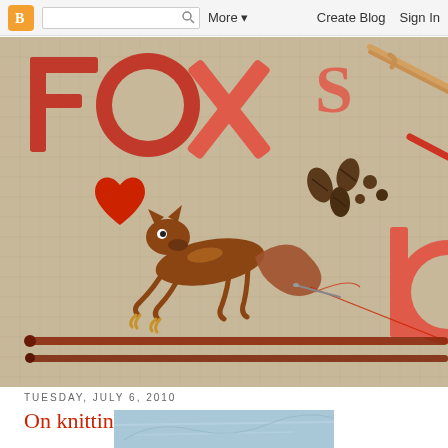Blogger navbar with logo, search box, More, Create Blog, Sign In
[Figure (photo): Blog header photo: burlap fabric background with red/coral felt letters spelling FOX'S Lo(ve), a glass fox figurine, red heart, coffee beans, knitting needles, crochet hooks, needle and thread. Craft/knitting blog banner.]
TUESDAY, JULY 6, 2010
On knitting.
[Figure (photo): Partial photo at bottom — appears to show a blue/teal background, possibly a map or fabric.]